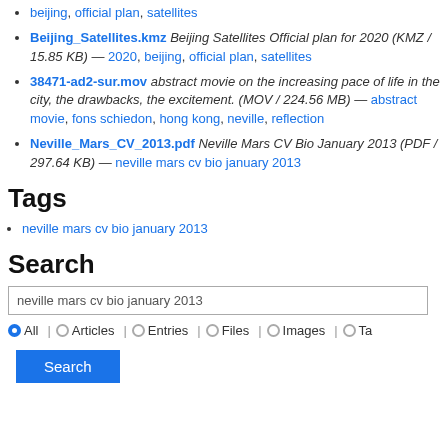beijing, official plan, satellites
Beijing_Satellites.kmz Beijing Satellites Official plan for 2020 (KMZ / 15.85 KB) — 2020, beijing, official plan, satellites
38471-ad2-sur.mov abstract movie on the increasing pace of life in the city, the drawbacks, the excitement. (MOV / 224.56 MB) — abstract movie, fons schiedon, hong kong, neville, reflection
Neville_Mars_CV_2013.pdf Neville Mars CV Bio January 2013 (PDF / 297.64 KB) — neville mars cv bio january 2013
Tags
neville mars cv bio january 2013
Search
neville mars cv bio january 2013
All  Articles  Entries  Files  Images  Tags
Search